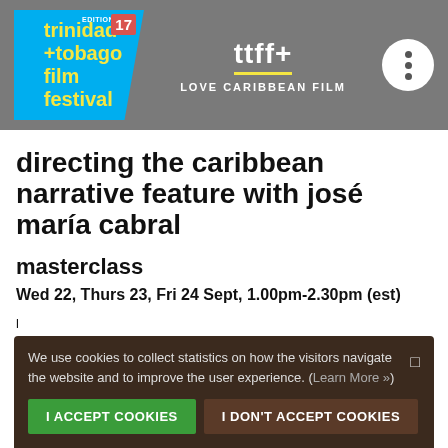[Figure (logo): Trinidad + Tobago Film Festival logo with edition 17 badge, ttff+ branding and 'LOVE CARIBBEAN FILM' tagline on grey header bar]
directing the caribbean narrative feature with josé maría cabral
masterclass
Wed 22, Thurs 23, Fri 24 Sept, 1.00pm-2.30pm (est)
We use cookies to collect statistics on how the visitors navigate the website and to improve the user experience. (Learn More »)
I ACCEPT COOKIES   I DON'T ACCEPT COOKIES